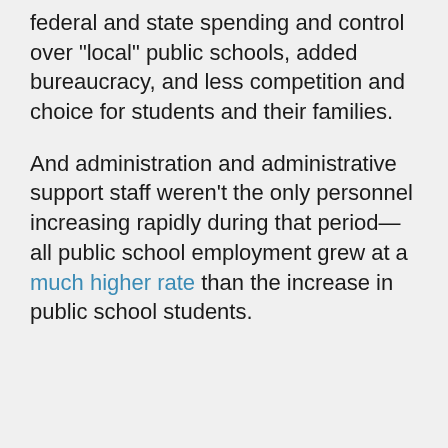federal and state spending and control over "local" public schools, added bureaucracy, and less competition and choice for students and their families.
And administration and administrative support staff weren't the only personnel increasing rapidly during that period—all public school employment grew at a much higher rate than the increase in public school students.